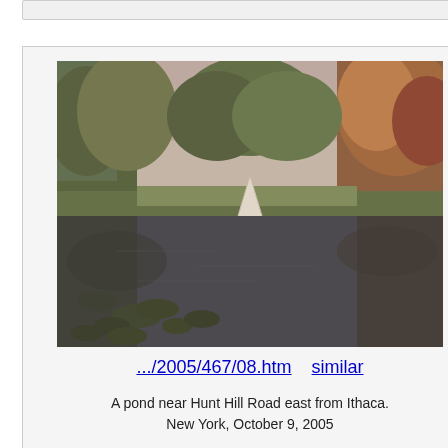[Figure (photo): A pond near Hunt Hill Road east from Ithaca, New York. Calm water with lily pads, surrounded by autumn trees with orange and green foliage, and a white triangular structure (possibly a swan or marker) with its reflection in the water.]
.../2005/467/08.htm    similar
A pond near Hunt Hill Road east from Ithaca.
New York, October 9, 2005
[Figure (photo): A misty wetland or swamp scene with bare dead trees and vertical poles/reeds reflected in shallow water, photographed in foggy atmospheric conditions.]